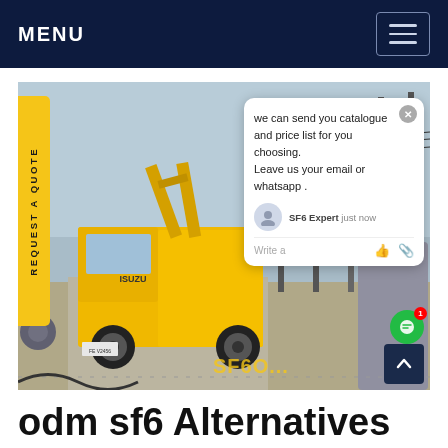MENU
[Figure (photo): Yellow ISUZU truck at an electrical substation with power lines and transformer equipment. A chat popup overlay is visible in the top right of the image with text: 'we can send you catalogue and price list for you choosing. Leave us your email or whatsapp .' Signed by SF6 Expert. A yellow 'REQUEST A QUOTE' badge appears on the left edge.]
odm sf6 Alternatives